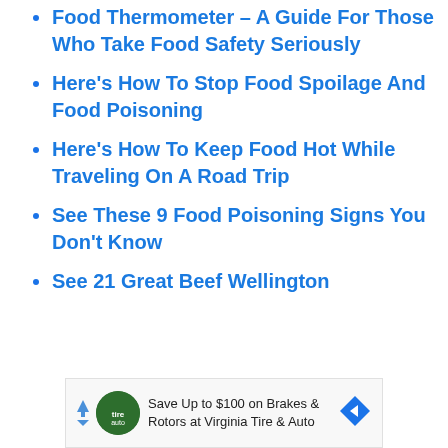Food Thermometer – A Guide For Those Who Take Food Safety Seriously
Here's How To Stop Food Spoilage And Food Poisoning
Here's How To Keep Food Hot While Traveling On A Road Trip
See These 9 Food Poisoning Signs You Don't Know
See 21 Great Beef Wellington
[Figure (other): Advertisement banner: Save Up to $100 on Brakes & Rotors at Virginia Tire & Auto]